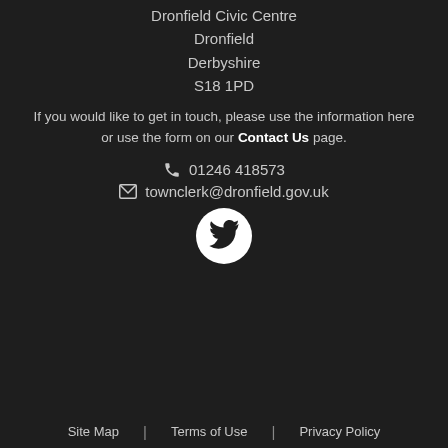Dronfield Civic Centre
Dronfield
Derbyshire
S18 1PD
If you would like to get in touch, please use the information here or use the form on our Contact Us page.
📞 01246 418573
✉ townclerk@dronfield.gov.uk
[Figure (logo): Twitter bird logo inside a white circle]
Site Map | Terms of Use | Privacy Policy